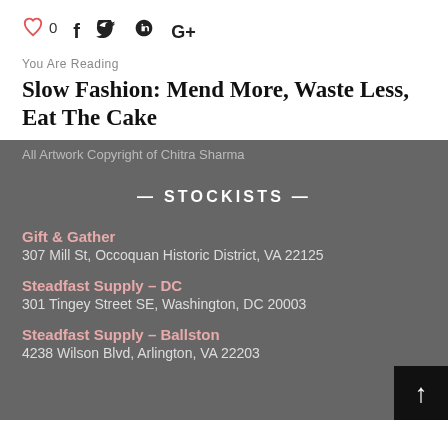[Figure (infographic): Social sharing bar with heart icon (0 likes), Facebook, Twitter, Pinterest, and Google+ icons]
You Are Reading
Slow Fashion: Mend More, Waste Less, Eat The Cake
All Artwork Copyright of Chitra Sharma
— STOCKISTS —
Gift & Gather
307 Mill St, Occoquan Historic District, VA 22125
Steadfast Supply – DC
301 Tingey Street SE, Washington, DC 20003
Steadfast Supply – Ballston
4238 Wilson Blvd, Arlington, VA 22203